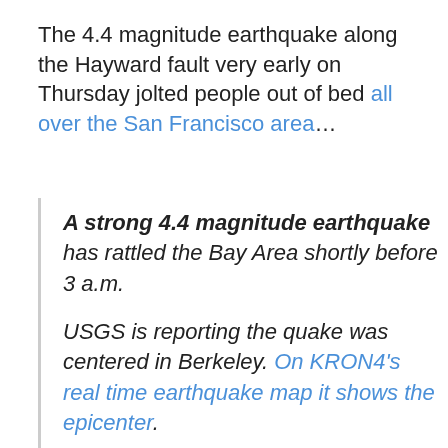The 4.4 magnitude earthquake along the Hayward fault very early on Thursday jolted people out of bed all over the San Francisco area...
A strong 4.4 magnitude earthquake has rattled the Bay Area shortly before 3 a.m.
USGS is reporting the quake was centered in Berkeley. On KRON4's real time earthquake map it shows the epicenter.
The quake struck at 2:39 a.m. and